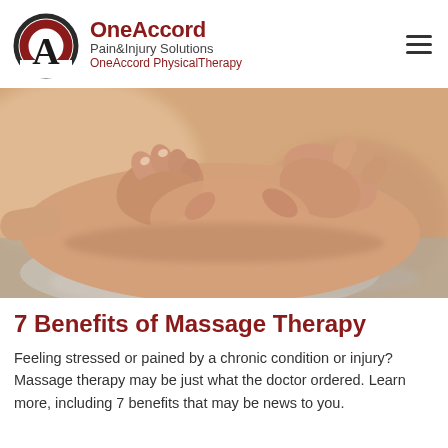[Figure (logo): OneAccord Pain & Injury Solutions logo with circular icon containing letter A and brand name text]
[Figure (photo): Close-up photograph of a massage therapist's hands working on a patient's back/shoulder area, warm skin tones with blurred background]
7 Benefits of Massage Therapy
Feeling stressed or pained by a chronic condition or injury? Massage therapy may be just what the doctor ordered. Learn more, including 7 benefits that may be news to you.